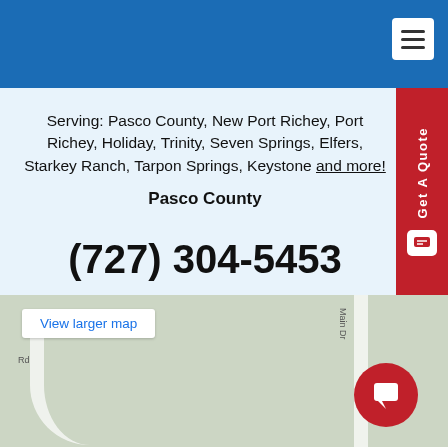Navigation header bar with menu icon
Serving: Pasco County, New Port Richey, Port Richey, Holiday, Trinity, Seven Springs, Elfers, Starkey Ranch, Tarpon Springs, Keystone and more!
Pasco County
(727) 304-5453
[Figure (map): Google map showing local area roads with a red location marker and a View larger map button]
View larger map